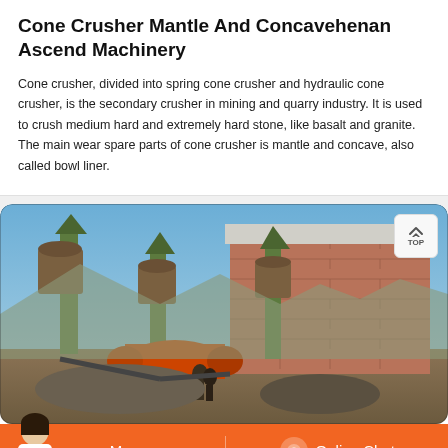Cone Crusher Mantle And Concavehenan Ascend Machinery
Cone crusher, divided into spring cone crusher and hydraulic cone crusher, is the secondary crusher in mining and quarry industry. It is used to crush medium hard and extremely hard stone, like basalt and granite. The main wear spare parts of cone crusher is mantle and concave, also called bowl liner.
[Figure (photo): Industrial mining/quarry facility showing cone crushers and related machinery with tall green metal structures, a large brick building, conveyor systems, and workers in the foreground under a clear blue sky.]